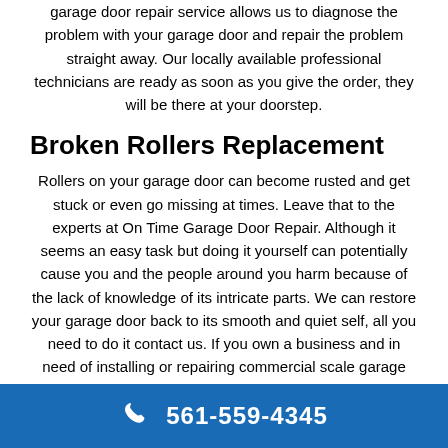garage door repair service allows us to diagnose the problem with your garage door and repair the problem straight away. Our locally available professional technicians are ready as soon as you give the order, they will be there at your doorstep.
Broken Rollers Replacement
Rollers on your garage door can become rusted and get stuck or even go missing at times. Leave that to the experts at On Time Garage Door Repair. Although it seems an easy task but doing it yourself can potentially cause you and the people around you harm because of the lack of knowledge of its intricate parts. We can restore your garage door back to its smooth and quiet self, all you need to do it contact us. If you own a business and in need of installing or repairing commercial scale garage doors, look no
561-559-4345